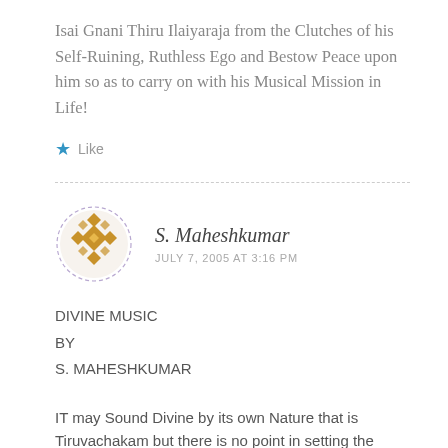Isai Gnani Thiru Ilaiyaraja from the Clutches of his Self-Ruining, Ruthless Ego and Bestow Peace upon him so as to carry on with his Musical Mission in Life!
★ Like
S. Maheshkumar
JULY 7, 2005 AT 3:16 PM
DIVINE MUSIC
BY
S. MAHESHKUMAR

IT may Sound Divine by its own Nature that is Tiruvachakam but there is no point in setting the Mannum Soru of Sri Manickavachakar to Symphony(s...